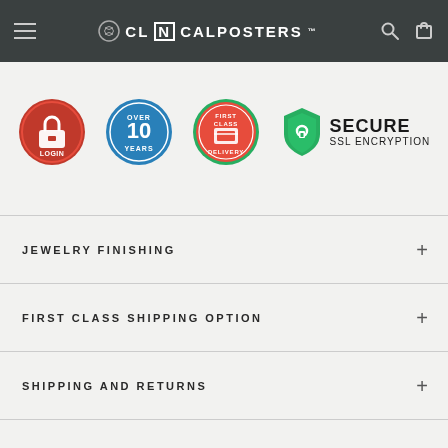CL[N]CALPOSTERS
[Figure (infographic): Four trust badges: Login security badge (red padlock), 10 Years badge (blue circular seal), First Class Delivery badge (red/green circular seal), Secure SSL Encryption badge (green shield with padlock icon and text 'SECURE SSL ENCRYPTION')]
JEWELRY FINISHING
FIRST CLASS SHIPPING OPTION
SHIPPING AND RETURNS
REVIEWS (0)